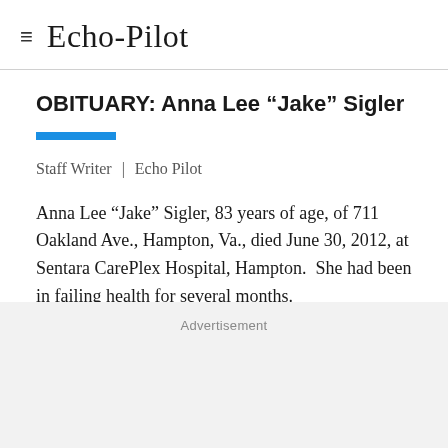≡ Echo-Pilot
OBITUARY: Anna Lee “Jake” Sigler
Staff Writer | Echo Pilot
Anna Lee “Jake” Sigler, 83 years of age, of 711 Oakland Ave., Hampton, Va., died June 30, 2012, at Sentara CarePlex Hospital, Hampton.  She had been in failing health for several months.
Advertisement